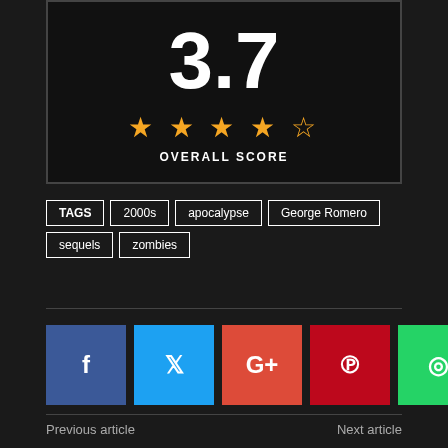[Figure (infographic): Score box showing 3.7 rating with 3.5 stars and OVERALL SCORE label]
TAGS  2000s  apocalypse  George Romero  sequels  zombies
[Figure (infographic): Social media share buttons: Facebook, Twitter, Google+, Pinterest, WhatsApp]
Previous article
Next article